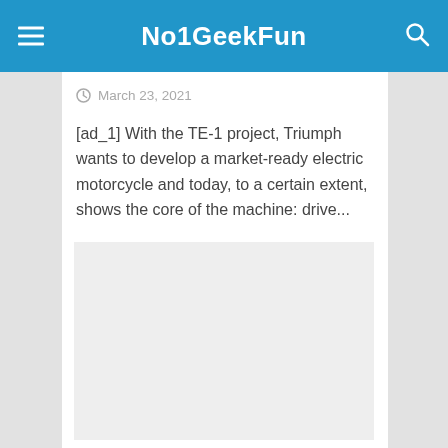No1GeekFun
March 23, 2021
[ad_1] With the TE-1 project, Triumph wants to develop a market-ready electric motorcycle and today, to a certain extent, shows the core of the machine: drive...
[Figure (other): Advertisement placeholder box (light gray rectangle)]